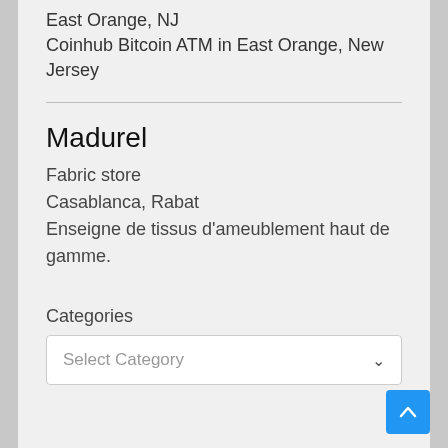East Orange, NJ
Coinhub Bitcoin ATM in East Orange, New Jersey
Madurel
Fabric store
Casablanca, Rabat
Enseigne de tissus d'ameublement haut de gamme.
Categories
Select Category